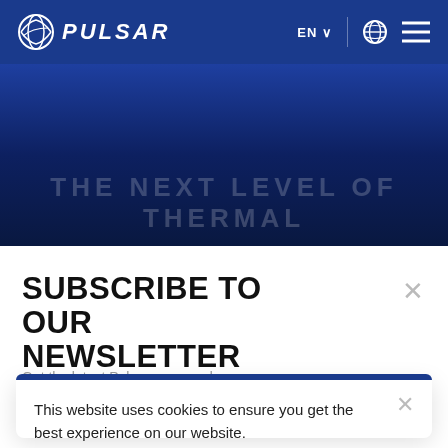[Figure (logo): Pulsar logo with globe/wing icon and PULSAR wordmark in white on dark blue navigation bar, with EN language selector, globe icon, and hamburger menu on right side]
[Figure (screenshot): Dark blue hero banner with large partially visible white text reading THE NEXT LEVEL OF THERMAL]
SUBSCRIBE TO OUR NEWSLETTER
Get the latest Pulsar news and
This website uses cookies to ensure you get the best experience on our website.
Got it!